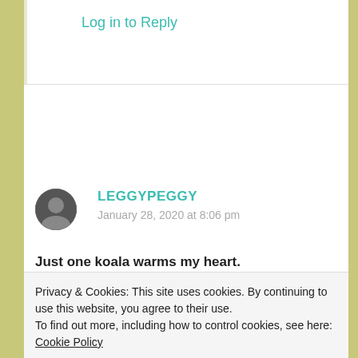Log in to Reply
LEGGYPEGGY
January 28, 2020 at 8:06 pm
Just one koala warms my heart.
Privacy & Cookies: This site uses cookies. By continuing to use this website, you agree to their use.
To find out more, including how to control cookies, see here: Cookie Policy
Close and accept
FORESTWOOD